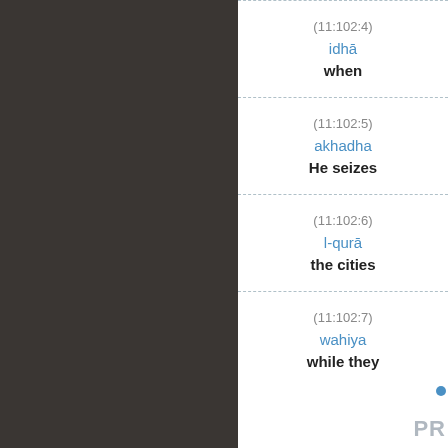(11:102:4)
idhā
when
(11:102:5)
akhadha
He seizes
(11:102:6)
l-qurā
the cities
(11:102:7)
wahiya
while they
PR